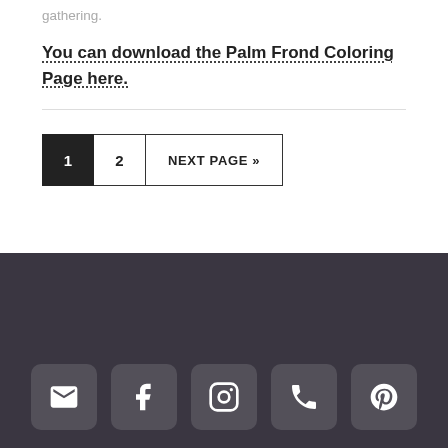gathering.
You can download the Palm Frond Coloring Page here.
[Figure (other): Pagination navigation with buttons: 1 (active/filled), 2, NEXT PAGE »]
Social media icons: email, facebook, instagram, phone, pinterest